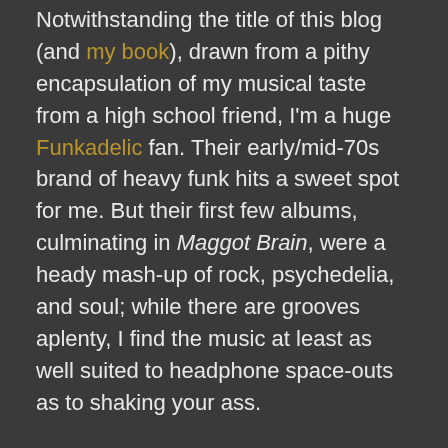Notwithstanding the title of this blog (and my book), drawn from a pithy encapsulation of my musical taste from a high school friend, I'm a huge Funkadelic fan. Their early/mid-70s brand of heavy funk hits a sweet spot for me. But their first few albums, culminating in Maggot Brain, were a heady mash-up of rock, psychedelia, and soul; while there are grooves aplenty, I find the music at least as well suited to headphone space-outs as to shaking your ass.
The album both opens and closes with extended jams. The instrumental title track is a slow, trippy guitar freak-out, a variation on the Grateful Dead's late 60s live "Dark Star > feedback" jams; while the closing "Wars of...